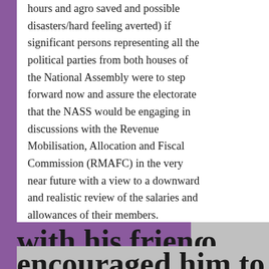hours and agro saved and possible disasters/hard feeling averted) if significant persons representing all the political parties from both houses of the National Assembly were to step forward now and assure the electorate that the NASS would be engaging in discussions with the Revenue Mobilisation, Allocation and Fiscal Commission (RMAFC) in the very near future with a view to a downward and realistic review of the salaries and allowances of their members.
Noel
with his friends encouraged him to